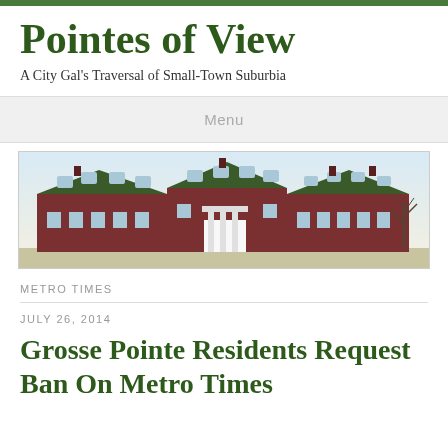Pointes of View
A City Gal's Traversal of Small-Town Suburbia
Menu
[Figure (photo): Historic red brick multi-story building with green roof and dormer windows, colonial-style white portico entrance, bare trees on right side, pale sky background — appears to be a vintage postcard photograph]
METRO TIMES
JULY 26, 2014
Grosse Pointe Residents Request Ban On Metro Times